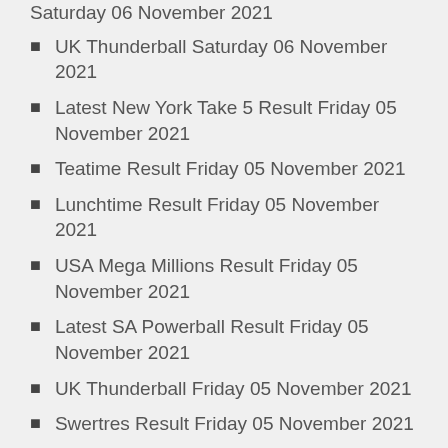UK Thunderball Saturday 06 November 2021
Latest New York Take 5 Result Friday 05 November 2021
Teatime Result Friday 05 November 2021
Lunchtime Result Friday 05 November 2021
USA Mega Millions Result Friday 05 November 2021
Latest SA Powerball Result Friday 05 November 2021
UK Thunderball Friday 05 November 2021
Swertres Result Friday 05 November 2021
Latest New York Take 5 Result Thursday 04 November 2021
Teatime Result Thursday 04